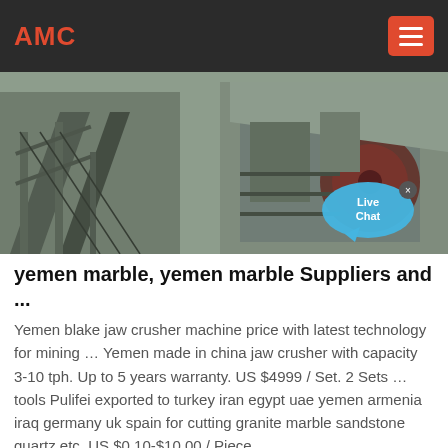AMC
[Figure (photo): Industrial mining/crushing machinery plant with conveyor belts and large jaw crusher equipment. A live chat bubble overlay is visible in the bottom-right corner.]
yemen marble, yemen marble Suppliers and ...
Yemen blake jaw crusher machine price with latest technology for mining … Yemen made in china jaw crusher with capacity 3-10 tph. Up to 5 years warranty. US $4999 / Set. 2 Sets … tools Pulifei exported to turkey iran egypt uae yemen armenia iraq germany uk spain for cutting granite marble sandstone quartz etc. US $0.10-$10.00 / Piece …